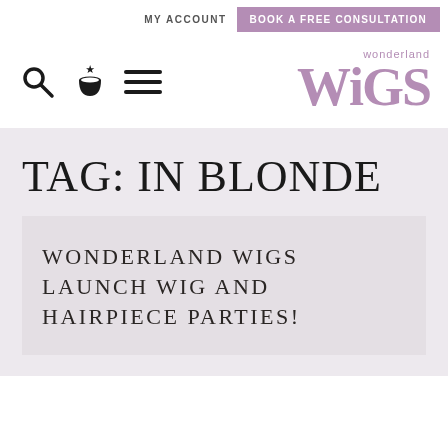MY ACCOUNT  BOOK A FREE CONSULTATION
[Figure (logo): Wonderland Wigs logo with search icon, basket icon, and hamburger menu icon on the left]
TAG: IN BLONDE
WONDERLAND WIGS LAUNCH WIG AND HAIRPIECE PARTIES!